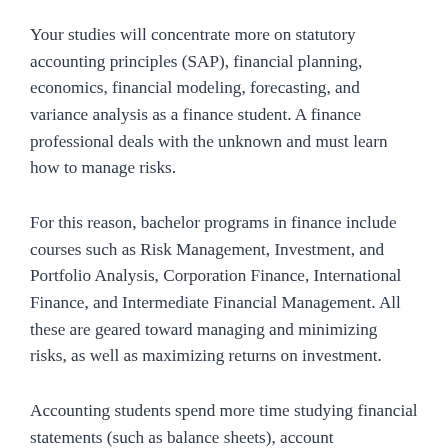Your studies will concentrate more on statutory accounting principles (SAP), financial planning, economics, financial modeling, forecasting, and variance analysis as a finance student. A finance professional deals with the unknown and must learn how to manage risks.
For this reason, bachelor programs in finance include courses such as Risk Management, Investment, and Portfolio Analysis, Corporation Finance, International Finance, and Intermediate Financial Management. All these are geared toward managing and minimizing risks, as well as maximizing returns on investment.
Accounting students spend more time studying financial statements (such as balance sheets), account reconciliation, and maintaining a general ledger.